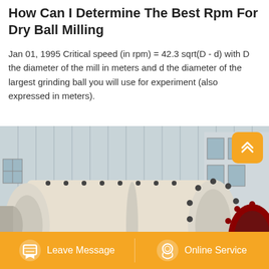How Can I Determine The Best Rpm For Dry Ball Milling
Jan 01, 1995 Critical speed (in rpm) = 42.3 sqrt(D - d) with D the diameter of the mill in meters and d the diameter of the largest grinding ball you will use for experiment (also expressed in meters).
[Figure (photo): Industrial ball mill machine photographed outdoors, cream/white colored cylindrical drum with bolted flanges, showing the large horizontal grinding cylinder with bolt patterns on circular end caps and along the drum body, red gear/sprocket visible on the right side, industrial building in background.]
Leave Message   Online Service